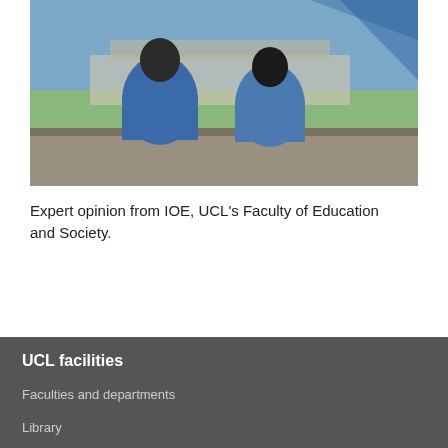[Figure (photo): Two children or young people wearing blue hoodies and dark caps, leaning on a stone wall with their backs to the camera, overlooking a green field and a large classical building in the background. Blue diagonal stripes overlay the image suggesting a UCL branding element.]
Expert opinion from IOE, UCL's Faculty of Education and Society.
UCL facilities
Faculties and departments
Library